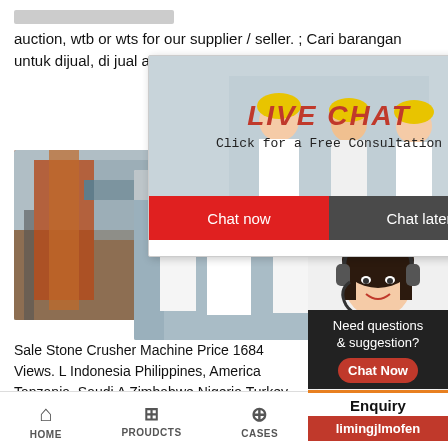auction, wtb or wts for our supplier / seller. ; Cari barangan untuk dijual, di jual atau bidaan dari penjual/pembekal kita.
[Figure (screenshot): Industrial stone crusher machine photo and group of workers in yellow hard hats]
Stone
[Figure (screenshot): Live chat popup overlay with red 'LIVE CHAT' text, 'Click for a Free Consultation', Chat now and Chat later buttons]
Read More
24Hrs Online
[Figure (photo): Customer service representative wearing headset, smiling]
Need questions & suggestion?
Chat Now
Enquiry
limingjlmofen
Sale Stone Crusher Machine Price 1684 Views. L Indonesia Philippines, America Tanzania, Saudi A Zimbabwe Nigeria Turkey, Click Chat Now
HOME   PROUDCTS   CASES